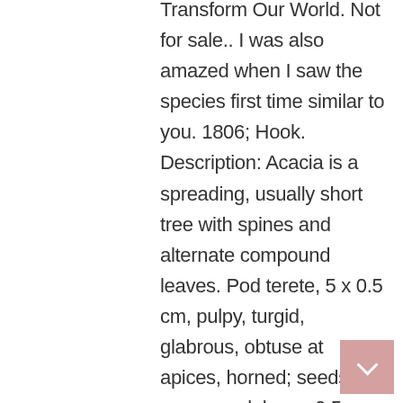Transform Our World. Not for sale.. I was also amazed when I saw the species first time similar to you. 1806; Hook. Description: Acacia is a spreading, usually short tree with spines and alternate compound leaves. Pod terete, 5 x 0.5 cm, pulpy, turgid, glabrous, obtuse at apices, horned; seeds 20 or more, globose, 0.5 mm, 2-seriate. Using Firefox type a slash to open a dialog box to search the site Find the botany name from this site. English Cassie Flower, Cassie Absolute, Sweet Acacia. Its individual leaflets are small. New content will be added above the current area of focus upon selection Babul is a tree with dark brown bark. 1. Pres. Stout ramblers; old stem 4-6-angled; prickles